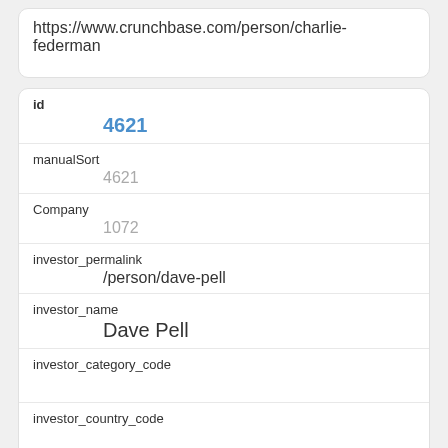https://www.crunchbase.com/person/charlie-federman
| Field | Value |
| --- | --- |
| id | 4621 |
| manualSort | 4621 |
| Company | 1072 |
| investor_permalink | /person/dave-pell |
| investor_name | Dave Pell |
| investor_category_code |  |
| investor_country_code |  |
| investor_state_code |  |
| investor_region |  |